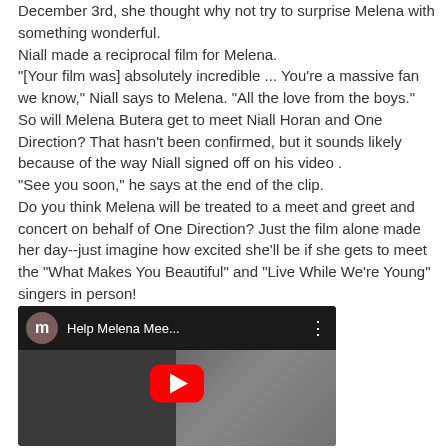December 3rd, she thought why not try to surprise Melena with something wonderful.
Niall made a reciprocal film for Melena.
"[Your film was] absolutely incredible ... You're a massive fan we know," Niall says to Melena. "All the love from the boys."
So will Melena Butera get to meet Niall Horan and One Direction? That hasn't been confirmed, but it sounds likely because of the way Niall signed off on his video .
"See you soon," he says at the end of the clip.
Do you think Melena will be treated to a meet and greet and concert on behalf of One Direction? Just the film alone made her day--just imagine how excited she'll be if she gets to meet the "What Makes You Beautiful" and "Live While We're Young" singers in person!
[Figure (screenshot): YouTube video embed showing 'Help Melena Mee...' with a red play button overlay on a dark background thumbnail]